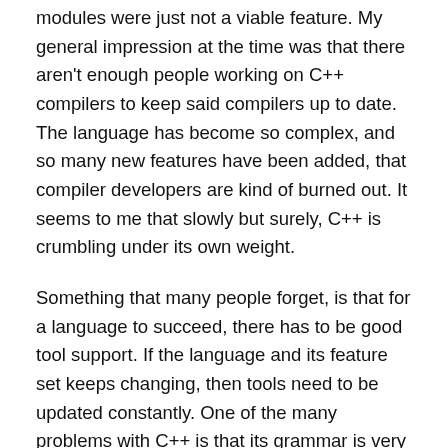modules were just not a viable feature. My general impression at the time was that there aren't enough people working on C++ compilers to keep said compilers up to date. The language has become so complex, and so many new features have been added, that compiler developers are kind of burned out. It seems to me that slowly but surely, C++ is crumbling under its own weight.
Something that many people forget, is that for a language to succeed, there has to be good tool support. If the language and its feature set keeps changing, then tools need to be updated constantly. One of the many problems with C++ is that its grammar is very hard to parse. That was already the case back in 1998. If you add on top of that the problem that the grammar changes to become even more complex every year or two, what do you think